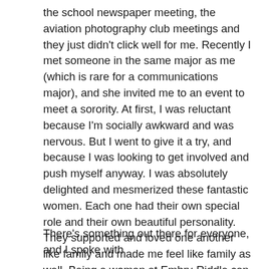the school newspaper meeting, the aviation photography club meetings and they just didn't click well for me. Recently I met someone in the same major as me (which is rare for a communications major), and she invited me to an event to meet a sorority. At first, I was reluctant because I'm socially awkward and was nervous. But I went to give it a try, and because I was looking to get involved and push myself anyway. I was absolutely delighted and mesmerized these fantastic women. Each one had their own special role and their own beautiful personality. They supported and loved one another like family and made me feel like family as well. Being a woman at Embry-Riddle can be overwhelming. I've had many classes where I was the only girl and I'm only in my second semester, so seeing all these empowering, friendly, and sweet girls was amazing! I'm sure from what I heard that joining a fraternity is a similar experience.
There's something out there for everyone, and I spoke with